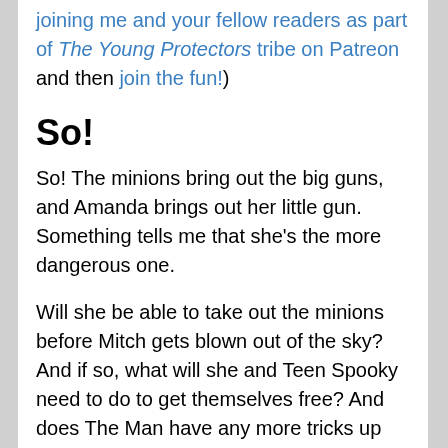joining me and your fellow readers as part of The Young Protectors tribe on Patreon and then join the fun!)
So!
So! The minions bring out the big guns, and Amanda brings out her little gun. Something tells me that she’s the more dangerous one.
Will she be able to take out the minions before Mitch gets blown out of the sky? And if so, what will she and Teen Spooky need to do to get themselves free? And does The Man have any more tricks up his sleeve?
Tune in this Saturday to find out! Hope to see you there! 😃